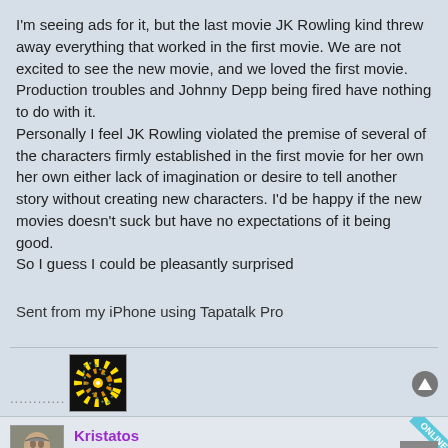I'm seeing ads for it, but the last movie JK Rowling kind threw away everything that worked in the first movie. We are not excited to see the new movie, and we loved the first movie.
Production troubles and Johnny Depp being fired have nothing to do with it.
Personally I feel JK Rowling violated the premise of several of the characters firmly established in the first movie for her own her own either lack of imagination or desire to tell another story without creating new characters. I'd be happy if the new movies doesn't suck but have no expectations of it being good.
So I guess I could be pleasantly surprised
Sent from my iPhone using Tapatalk Pro
[Figure (illustration): Forum avatar with swirling galaxy/eye graphic]
[Figure (illustration): User avatar showing elderly person face]
Kristatos
OO Moderator
[Figure (illustration): Griffin/winged lion pixel art holding a gun]